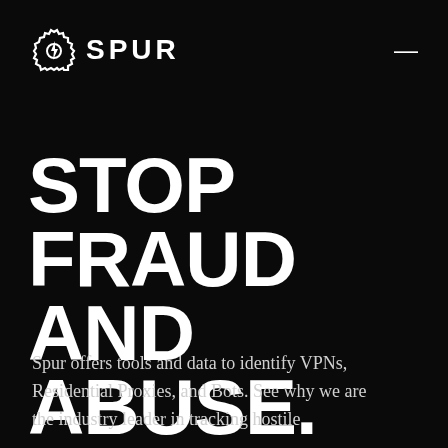[Figure (logo): Spur logo: gear/shield icon with lightning bolt on the left, followed by the text SPUR in bold white capital letters]
STOP FRAUD AND ABUSE.
Spur offers tools and data to identify VPNs, Residential Proxies, and Bots. See why we are the industry leader in tracking hostile